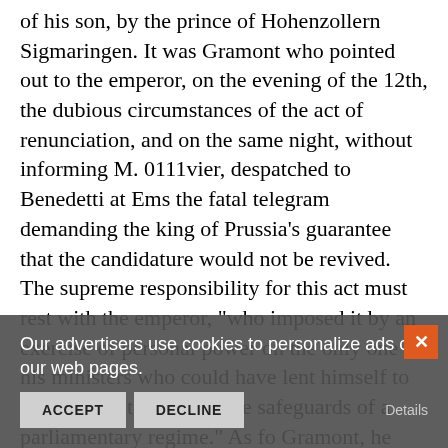of his son, by the prince of Hohenzollern Sigmaringen. It was Gramont who pointed out to the emperor, on the evening of the 12th, the dubious circumstances of the act of renunciation, and on the same night, without informing M. 0111vier, despatched to Benedetti at Ems the fatal telegram demanding the king of Prussia's guarantee that the candidature would not be revived. The supreme responsibility for this act must rest with the emperor, "who imposed it by an exercise of personal power on the only one cf his ministers who could have lent himself to such a forgetfulness of the safeguards of a parliamentary regime." As fo Gramont, he had "no concention of the exigencies of his position, he remained an ambassador accustomed to obey the orders of his sover all h he had no idea that this was not correct, and that, himself a parliamentary minister, he had associated
Our advertisers use cookies to personalize ads on our web pages.